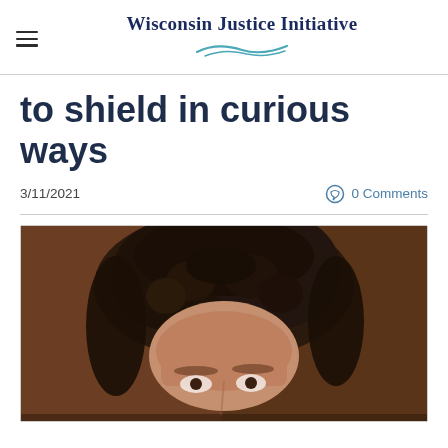Wisconsin Justice Initiative
to shield in curious ways
3/11/2021
0 Comments
[Figure (photo): Close-up portrait photo of a person with curly dark hair, cropped showing the upper portion of their face and head against a warm brown background]